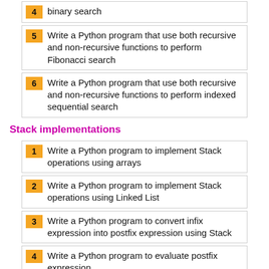4  binary search
5  Write a Python program that use both recursive and non-recursive functions to perform Fibonacci search
6  Write a Python program that use both recursive and non-recursive functions to perform indexed sequential search
Stack implementations
1  Write a Python program to implement Stack operations using arrays
2  Write a Python program to implement Stack operations using Linked List
3  Write a Python program to convert infix expression into postfix expression using Stack
4  Write a Python program to evaluate postfix expression
Queue implementations
1  Write a Python program to implement Queue operations using arrays.